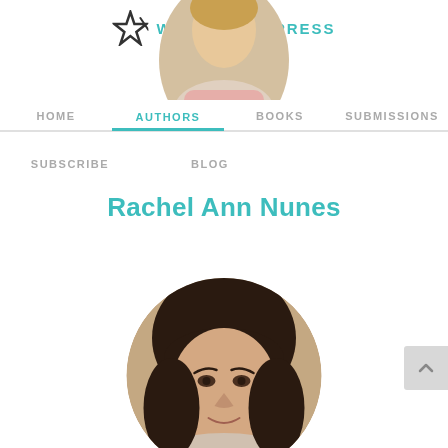WHITE STAR PRESS
[Figure (logo): White Star Press logo with a star icon and the text WHITE STAR PRESS in teal]
[Figure (photo): Partial circular cropped photo of an author at the top of the page, visible from above the navigation bar]
HOME  AUTHORS  BOOKS  SUBMISSIONS
SUBSCRIBE  BLOG
Rachel Ann Nunes
[Figure (photo): Circular cropped portrait photo of Rachel Ann Nunes, a woman with dark brown hair and bangs, looking slightly to the side, warm beige/tan background]